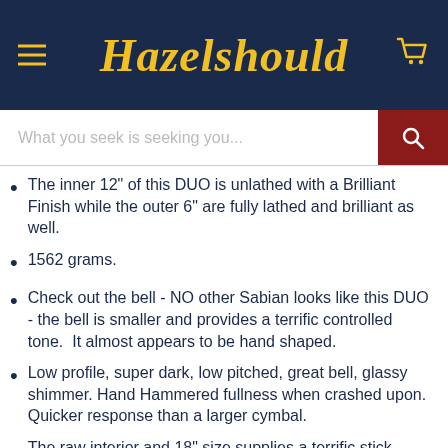Hazelshould
What you seek is seeking you...
The inner 12" of this DUO is unlathed with a Brilliant Finish while the outer 6" are fully lathed and brilliant as well.
1562 grams.
Check out the bell - NO other Sabian looks like this DUO - the bell is smaller and provides a terrific controlled tone.  It almost appears to be hand shaped.
Low profile, super dark, low pitched, great bell, glassy shimmer. Hand Hammered fullness when crashed upon. Quicker response than a larger cymbal.
The raw interior and 18" size supplies a terrific stick attack when